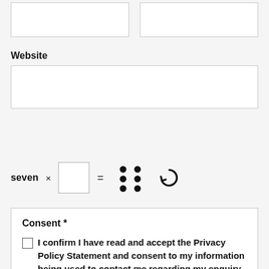[Figure (other): Two empty white input field boxes at the top of the form, side by side]
Website
[Figure (other): A wide empty white input field for Website URL]
[Figure (other): CAPTCHA widget: text 'seven ×', an empty input box, '=', a dot-pattern image representing a number, and a refresh icon]
Consent *
☐ I confirm I have read and accept the Privacy Policy Statement and consent to my information being used to contact me regarding my enquiry.